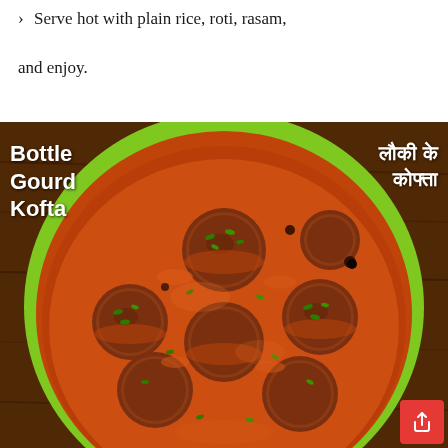> Serve hot with plain rice, roti, rasam, and enjoy.
[Figure (photo): A bowl of Bottle Gourd Kofta (लौकी के कोफ्ता) — large meatball-like koftas in a rich orange-red curry sauce, garnished with chopped green coriander, served in a green-rimmed bowl on a wooden surface. Text overlay on top-left reads 'Bottle Gourd Kofta' and on top-right reads 'लौकी के कोफ्ता' in white bold font. A red share/cursor button in the bottom-right corner.]